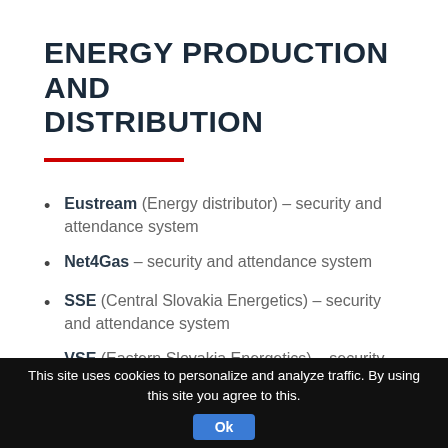ENERGY PRODUCTION AND DISTRIBUTION
Eustream (Energy distributor) – security and attendance system
Net4Gas – security and attendance system
SSE (Central Slovakia Energetics) – security and attendance system
VSE (Eastern Slovakia Energetics) – security
This site uses cookies to personalize and analyze traffic. By using this site you agree to this. Ok